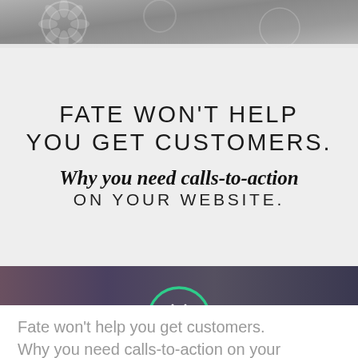[Figure (photo): Top decorative image with dark textured background, partially visible]
FATE WON'T HELP YOU GET CUSTOMERS.
Why you need calls-to-action ON YOUR WEBSITE.
[Figure (photo): Middle section showing dark background with partial photo of hands near a device, and a circular butterfly logo in green and purple on dark background]
Fate won't help you get customers. Why you need calls-to-action on your